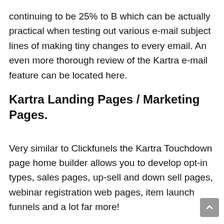continuing to be 25% to B which can be actually practical when testing out various e-mail subject lines of making tiny changes to every email. An even more thorough review of the Kartra e-mail feature can be located here.
Kartra Landing Pages / Marketing Pages.
Very similar to Clickfunels the Kartra Touchdown page home builder allows you to develop opt-in types, sales pages, up-sell and down sell pages, webinar registration web pages, item launch funnels and a lot far more!
Kartra allows you to develop a basic sales web page to a complete series, multi-step sales channel without the need to